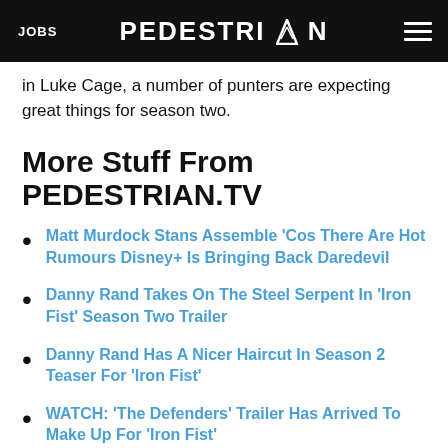JOBS  PEDESTRIAN  ☰
in Luke Cage, a number of punters are expecting great things for season two.
More Stuff From PEDESTRIAN.TV
Matt Murdock Stans Assemble 'Cos There Are Hot Rumours Disney+ Is Bringing Back Daredevil
Danny Rand Takes On The Steel Serpent In 'Iron Fist' Season Two Trailer
Danny Rand Has A Nicer Haircut In Season 2 Teaser For 'Iron Fist'
WATCH: 'The Defenders' Trailer Has Arrived To Make Up For 'Iron Fist'
Image: Daredevil